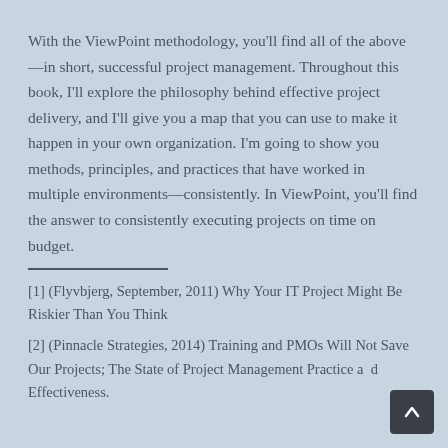With the ViewPoint methodology, you'll find all of the above—in short, successful project management. Throughout this book, I'll explore the philosophy behind effective project delivery, and I'll give you a map that you can use to make it happen in your own organization. I'm going to show you methods, principles, and practices that have worked in multiple environments—consistently. In ViewPoint, you'll find the answer to consistently executing projects on time on budget.
[1] (Flyvbjerg, September, 2011) Why Your IT Project Might Be Riskier Than You Think
[2] (Pinnacle Strategies, 2014) Training and PMOs Will Not Save Our Projects; The State of Project Management Practice and Effectiveness.